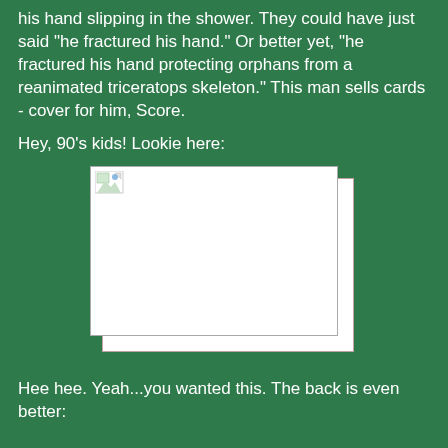his hand slipping in the shower.  They could have just said "he fractured his hand."  Or better yet, "he fractured his hand protecting orphans from a reanimated triceratops skeleton."  This man sells cards - cover for him, Score.
Hey, 90's kids!  Lookie here:
[Figure (photo): A broken/missing image placeholder shown as two overlapping white rectangles with a small broken image icon in the top-left corner.]
Hee hee.  Yeah...you wanted this.  The back is even better: